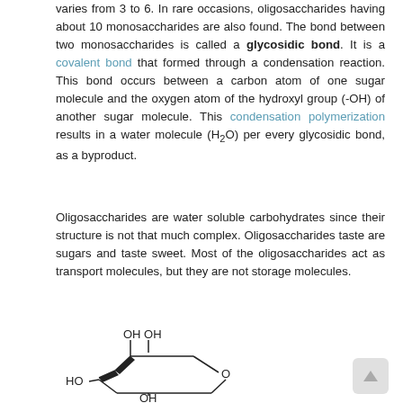varies from 3 to 6. In rare occasions, oligosaccharides having about 10 monosaccharides are also found. The bond between two monosaccharides is called a glycosidic bond. It is a covalent bond that formed through a condensation reaction. This bond occurs between a carbon atom of one sugar molecule and the oxygen atom of the hydroxyl group (-OH) of another sugar molecule. This condensation polymerization results in a water molecule (H₂O) per every glycosidic bond, as a byproduct.
Oligosaccharides are water soluble carbohydrates since their structure is not that much complex. Oligosaccharides taste are sugars and taste sweet. Most of the oligosaccharides act as transport molecules, but they are not storage molecules.
[Figure (illustration): Chemical structure diagram of a sugar molecule (monosaccharide ring structure) showing OH groups, HO group, and O in the ring, drawn in skeletal/line-angle notation.]